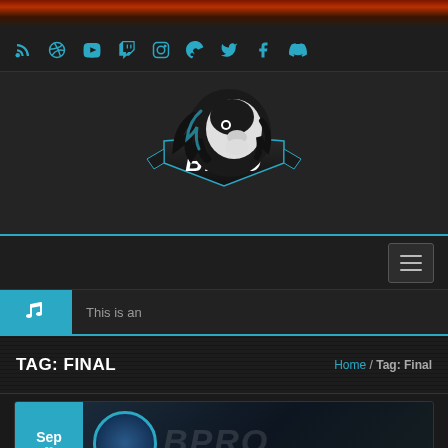[Figure (illustration): Fire/flame decorative banner at top of page]
Social media icons bar: RSS, Dribbble, YouTube, Twitch, Instagram, Steam, Twitter, Facebook, Discord
[Figure (logo): BPRO esports logo featuring a lion head with black mane and blue accents above a shield/banner with BPRO text]
[Figure (other): Navigation bar with hamburger menu button on right side]
This is an
TAG: FINAL
Home / Tag: Final
[Figure (screenshot): Partial content card showing Sep date box in blue and partial article thumbnail image]